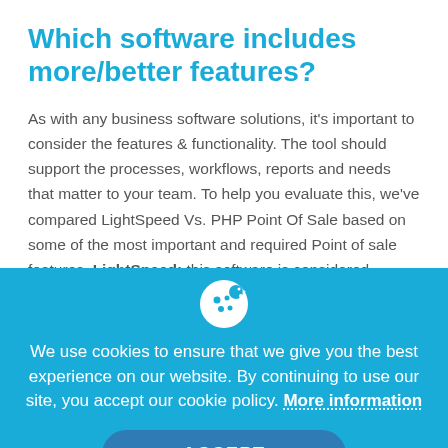Which software includes more/better features?
As with any business software solutions, it’s important to consider the features & functionality. The tool should support the processes, workflows, reports and needs that matter to your team. To help you evaluate this, we’ve compared LightSpeed Vs. PHP Point Of Sale based on some of the most important and required Point of sale features. LightSpeed: this software is considered “feature-rich” with more than 10 important features,
We use cookies to ensure that we give you the best experience on our website. By continuing to use our site, you accept our cookie policy. More information
ACCEPT